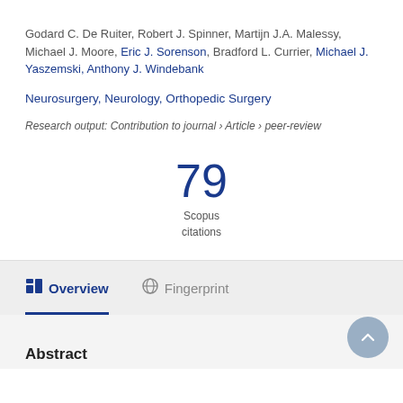Godard C. De Ruiter, Robert J. Spinner, Martijn J.A. Malessy, Michael J. Moore, Eric J. Sorenson, Bradford L. Currier, Michael J. Yaszemski, Anthony J. Windebank
Neurosurgery, Neurology, Orthopedic Surgery
Research output: Contribution to journal › Article › peer-review
79 Scopus citations
Overview
Fingerprint
Abstract